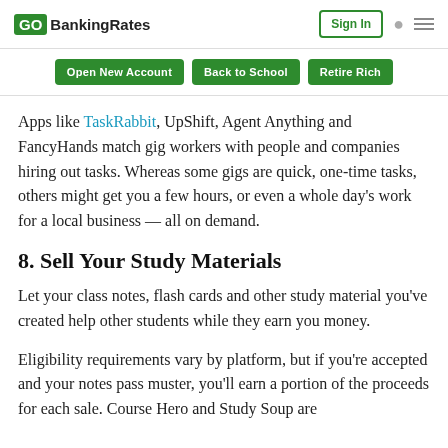GoBankingRates — Sign In
Open New Account  Back to School  Retire Rich
Apps like TaskRabbit, UpShift, Agent Anything and FancyHands match gig workers with people and companies hiring out tasks. Whereas some gigs are quick, one-time tasks, others might get you a few hours, or even a whole day's work for a local business — all on demand.
8. Sell Your Study Materials
Let your class notes, flash cards and other study material you've created help other students while they earn you money.
Eligibility requirements vary by platform, but if you're accepted and your notes pass muster, you'll earn a portion of the proceeds for each sale. Course Hero and Study Soup are